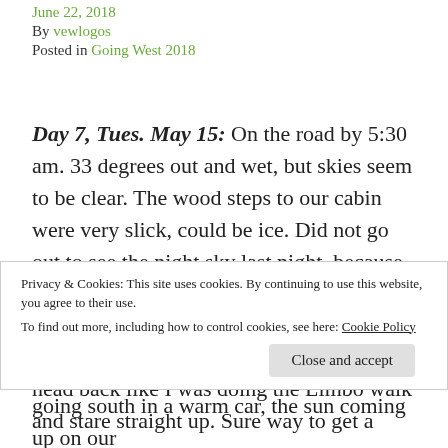June 22, 2018
By vewlogos
Posted in Going West 2018
Day 7, Tues. May 15: On the road by 5:30 am. 33 degrees out and wet, but skies seem to be clear. The wood steps to our cabin were very slick, could be ice. Did not go out to see the night sky last night, because it was overcast and rainy. This morning the small patch of visible stars was hard to enjoy as I would have to stand with my head back like I was doing the Limbo walk and stare straight up. Sure way to get a
Privacy & Cookies: This site uses cookies. By continuing to use this website, you agree to their use.
To find out more, including how to control cookies, see here: Cookie Policy
Close and accept
going south in a warm car, the sun coming up on our